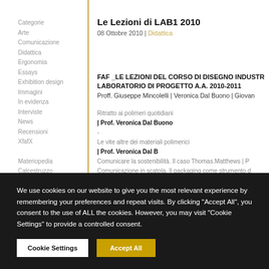Categorie
Arte
Comunicazione
Didattica
Ergonomia
Essays
Exhibition design
Immagini
In evidenza
Interviste
News
Recensioni
XfafX
Materiopedia
Calcestruzzo
Carbonio
Carta e cartone
Ceramica
Le Lezioni di LAB1 2010
08 Ottobre 2010 | Didattica
FAF _LE LEZIONI DEL CORSO DI DISEGNO INDUSTR...
LABORATORIO DI PROGETTO A.A. 2010-2011
Proff. Giuseppe Mincolelli | Veronica Dal Buono | Giovan...
Ritratto ai polimeri quotidiani | Prof. Veronica Dal Buono -...
Le vite altre dei materiali polimerici | Prof. Veronica Dal B...
Comunicare la sostenibilità. Il caso Thomas.Matthews | P...
Comunicazione in scatola. Il packaging come strumento d...
dic. 10
We use cookies on our website to give you the most relevant experience by remembering your preferences and repeat visits. By clicking "Accept All", you consent to the use of ALL the cookies. However, you may visit "Cookie Settings" to provide a controlled consent.
Cookie Settings | Accept All